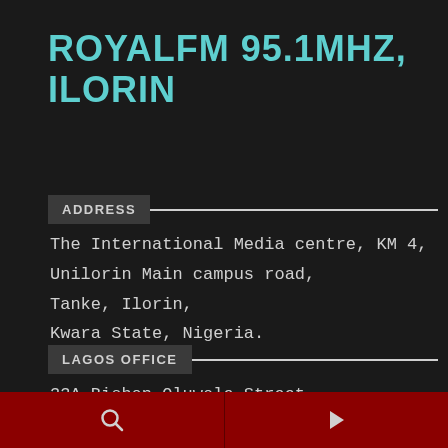ROYALFM 95.1MHZ, ILORIN
ADDRESS
The International Media centre, KM 4,
Unilorin Main campus road,
Tanke, Ilorin,
Kwara State, Nigeria.
LAGOS OFFICE
33A Bishop Oluwole Street,
Off Akin-Adesola,